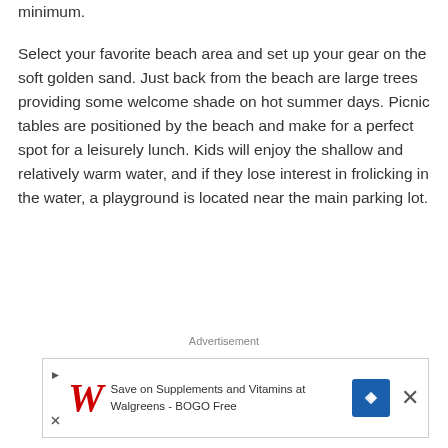minimum.
Select your favorite beach area and set up your gear on the soft golden sand. Just back from the beach are large trees providing some welcome shade on hot summer days. Picnic tables are positioned by the beach and make for a perfect spot for a leisurely lunch. Kids will enjoy the shallow and relatively warm water, and if they lose interest in frolicking in the water, a playground is located near the main parking lot.
Advertisement
[Figure (other): Walgreens advertisement banner: Save on Supplements and Vitamins at Walgreens - BOGO Free]